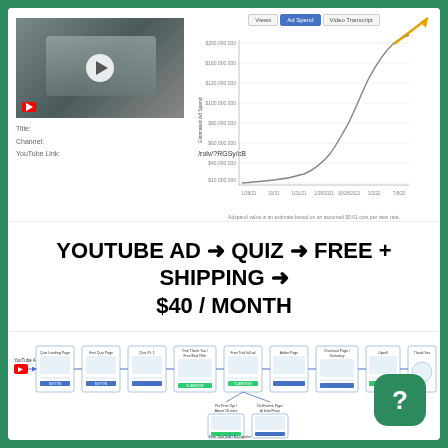[Figure (screenshot): Video thumbnail showing a person's face with a play button overlay]
Title:
Channel:
YouTube Link:						/rolv/?RGSy/cB
[Figure (line-chart): Line chart showing Estimated Ad Spend over time (Day axis), with exponential growth curve. Tabs: Views, Ad Spend (active), Video Transcript. Orange arrow pointing to top-right of chart.]
Adspend value is an estimate based on an assumed $0.01 cost per view rate.
YOUTUBE AD → QUIZ → FREE + SHIPPING → $40 / MONTH
[Figure (flowchart): Funnel flowchart: YouTube Ad → Quiz Landing Page → First Quiz Page → Quiz Pt. 1 → One Thank You / Free Bad Offer → Free Trial full ad → Adder Page → Checkout Page / Summary → Upsell → Thank You. With sub-branches for Pre Free Opt / About 10 mins, ClickFunnels Page / At Initial Phase.]
[Figure (other): Green rounded square help/question mark button in bottom right corner]